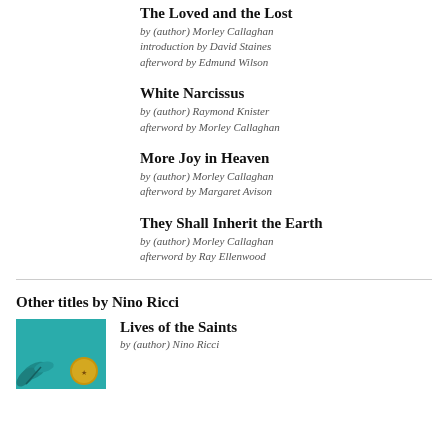The Loved and the Lost
by (author) Morley Callaghan
introduction by David Staines
afterword by Edmund Wilson
White Narcissus
by (author) Raymond Knister
afterword by Morley Callaghan
More Joy in Heaven
by (author) Morley Callaghan
afterword by Margaret Avison
They Shall Inherit the Earth
by (author) Morley Callaghan
afterword by Ray Ellenwood
Other titles by Nino Ricci
Lives of the Saints
by (author) Nino Ricci
[Figure (illustration): Book cover for Lives of the Saints with teal/turquoise background, leaf illustration, and gold medal badge]